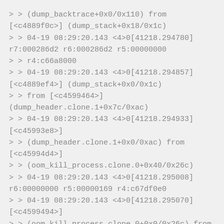> > (dump_backtrace+0x0/0x110) from
[<c4889f0c>] (dump_stack+0x18/0x1c)
> > 04-19 08:29:20.143 <4>0[41218.294780]
r7:000286d2 r6:000286d2 r5:00000000
> > r4:c66a8000
> > 04-19 08:29:20.143 <4>0[41218.294857]
[<c4889ef4>] (dump_stack+0x0/0x1c)
> > from [<c4599464>]
(dump_header.clone.1+0x7c/0xac)
> > 04-19 08:29:20.143 <4>0[41218.294933]
[<c45993e8>]
> > (dump_header.clone.1+0x0/0xac) from
[<c45994d4>]
> > (oom_kill_process.clone.0+0x40/0x26c)
> > 04-19 08:29:20.143 <4>0[41218.295008]
r6:00000000 r5:00000169 r4:c67df0e0
> > 04-19 08:29:20.143 <4>0[41218.295070]
[<c4599494>]
> > (oom_kill_process.clone.0+0x0/0x26c) from
[<c45999b4>]